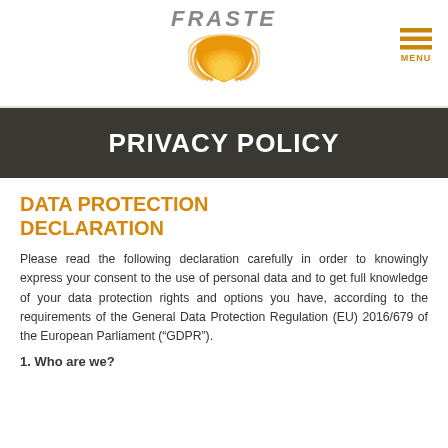[Figure (logo): FRASTE logo with orange arc wave graphic and italic gray text]
PRIVACY POLICY
DATA PROTECTION DECLARATION
Please read the following declaration carefully in order to knowingly express your consent to the use of personal data and to get full knowledge of your data protection rights and options you have, according to the requirements of the General Data Protection Regulation (EU) 2016/679 of the European Parliament (“GDPR”).
1. Who are we?